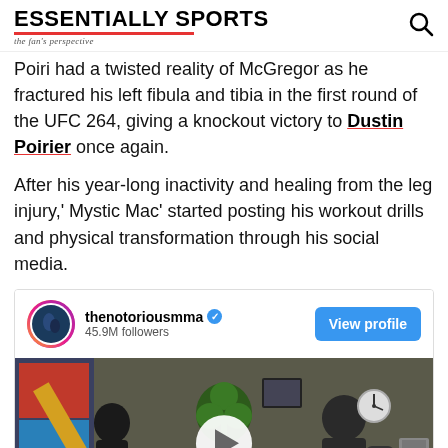ESSENTIALLY SPORTS — the fan's perspective
Poiri had a twisted reality of McGregor as he fractured his left fibula and tibia in the first round of the UFC 264, giving a knockout victory to Dustin Poirier once again.
After his year-long inactivity and healing from the leg injury,' Mystic Mac' started posting his workout drills and physical transformation through his social media.
[Figure (screenshot): Instagram embed showing thenotoriousmma profile with 45.9M followers and a View profile button, with a video thumbnail of two fighters training in a gym with a shamrock banner and 'Come to Crumlin' text visible, with a play button overlay.]